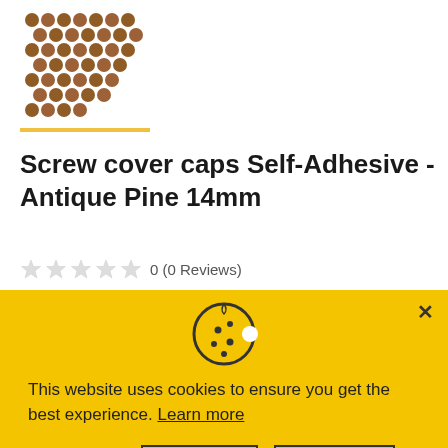[Figure (photo): Product image showing a grid of brown self-adhesive screw cover caps on white background, with a gold horizontal line below]
Screw cover caps Self-Adhesive - Antique Pine 14mm
0 (0 Reviews)
Availability: In Stock
This website uses cookies to ensure you get the best experience. Learn more
Preferences | Accept | Decline